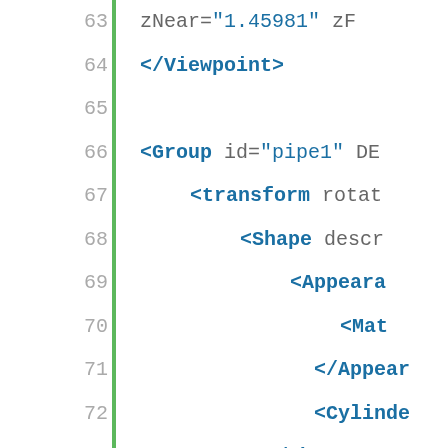[Figure (screenshot): Code editor view showing XML/X3D markup with line numbers 63-85. A green vertical bar separates line numbers from code. The code contains XML tags including Viewpoint, Group, transform, Shape, Appearance, Material, Cylinder elements with various attributes shown in blue bold, attribute values in quoted blue strings, and plain attributes in gray.]